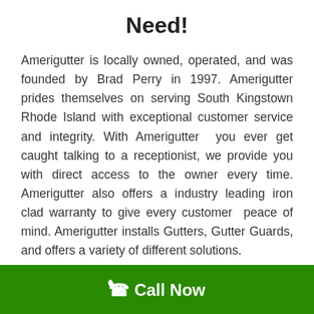Need!
Amerigutter is locally owned, operated, and was founded by Brad Perry in 1997. Amerigutter prides themselves on serving South Kingstown Rhode Island with exceptional customer service and integrity. With Amerigutter  you ever get caught talking to a receptionist, we provide you with direct access to the owner every time. Amerigutter also offers a industry leading iron clad warranty to give every customer peace of mind. Amerigutter installs Gutters, Gutter Guards, and offers a variety of different solutions.
[Figure (other): Green bar with phone icon and 'Call Now' button at the bottom of the page]